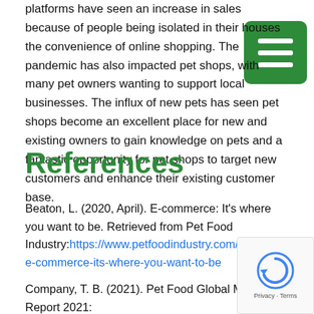platforms have seen an increase in sales because of people being isolated in their houses the convenience of online shopping. The pandemic has also impacted pet shops, with many pet owners wanting to support local businesses. The influx of new pets has seen pet shops become an excellent place for new and existing owners to gain knowledge on pets and a fantastic opportunity for pet shops to target new customers and enhance their existing customer base.
References
Beaton, L. (2020, April). E-commerce: It's where you want to be. Retrieved from Pet Food Industry:https://www.petfoodindustry.com/articles/0001-e-commerce-its-where-you-want-to-be
Company, T. B. (2021). Pet Food Global Market Report 2021: